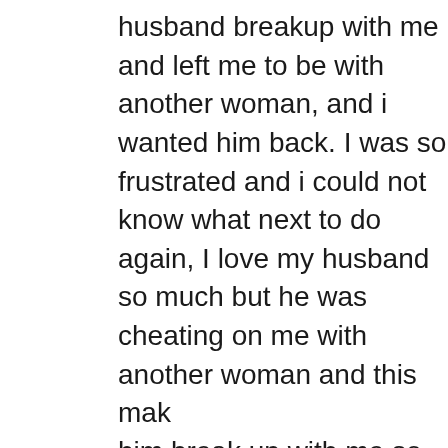husband breakup with me and left me to be with another woman, and i wanted him back. I was so frustrated and i could not know what next to do again, I love my husband so much but he was cheating on me with another woman and this mak him break up with me so that he can be able to ge married to the other lady and this lady i think use witchcraft on my husband to make him hate me ar my kids and this was so critical and uncalled-for, cry all day and night for God to send me a helper get back my husband!! I was really upset and i needed help, so i searched for help online and I came across a website that suggested that LORD JUMA can help get ex back fast. So, I felt I shoulc give him a try. I contacted him and he told me wha